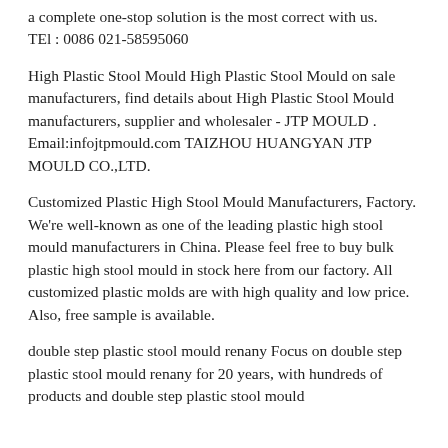a complete one-stop solution is the most correct with us. TEl : 0086 021-58595060
High Plastic Stool Mould High Plastic Stool Mould on sale manufacturers, find details about High Plastic Stool Mould manufacturers, supplier and wholesaler - JTP MOULD . Email:infojtpmould.com TAIZHOU HUANGYAN JTP MOULD CO.,LTD.
Customized Plastic High Stool Mould Manufacturers, Factory. We're well-known as one of the leading plastic high stool mould manufacturers in China. Please feel free to buy bulk plastic high stool mould in stock here from our factory. All customized plastic molds are with high quality and low price. Also, free sample is available.
double step plastic stool mould renany Focus on double step plastic stool mould renany for 20 years, with hundreds of products and double step plastic stool mould